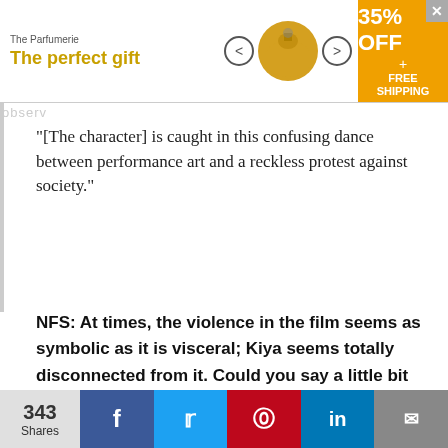[Figure (screenshot): Advertisement banner for 'The Parfumerie' with text 'The perfect gift', product image, arrows, and '35% OFF + FREE SHIPPING' in orange box]
"[The character] is caught in this confusing dance between performance art and a reckless protest against society."
NFS: At times, the violence in the film seems as symbolic as it is visceral; Kiya seems totally disconnected from it. Could you say a little bit about how the film straddles symbolism and realism in this aspect?
Mockler: Well, I think there are acts of violence that she commits, which are kind of purely performative
343 Shares  [Facebook] [Twitter] [Pinterest] [LinkedIn] [Email]